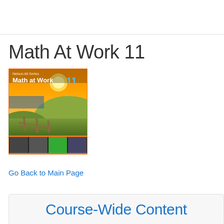Math At Work 11
[Figure (illustration): Book cover of Math at Work 11 textbook showing a coastal landscape with a wooden fence path, sunset sky, grass hills, and a strip of smaller images at the bottom showing students in various work settings. The title 'Math at Work 11' appears on the cover in white and blue text.]
Go Back to Main Page
Course-Wide Content